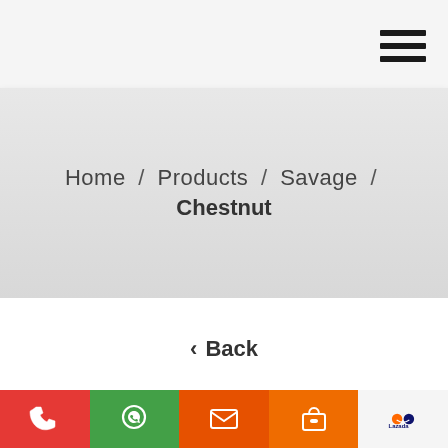≡ (hamburger menu)
Home / Products / Savage / Chestnut
‹ Back
[Figure (screenshot): Product card partial view with brown diagonal corner]
Phone | WhatsApp | Email | Shopee | Lazada